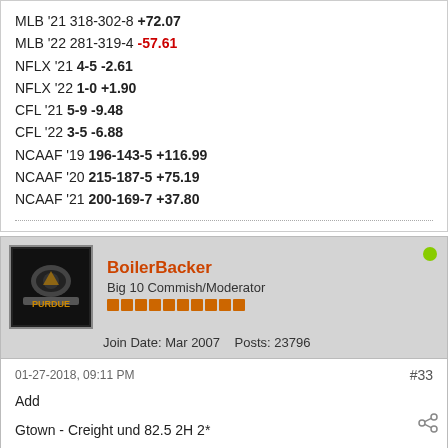MLB '21 318-302-8 +72.07
MLB '22 281-319-4 -57.61
NFLX '21 4-5 -2.61
NFLX '22 1-0 +1.90
CFL '21 5-9 -9.48
CFL '22 3-5 -6.88
NCAAF '19 196-143-5 +116.99
NCAAF '20 215-187-5 +75.19
NCAAF '21 200-169-7 +37.80
BoilerBacker
Big 10 Commish/Moderator
Join Date: Mar 2007  Posts: 23796
01-27-2018, 09:11 PM  #33
Add

Gtown - Creight und 82.5 2H 2*

GL :beerbang:
Go Boilers!